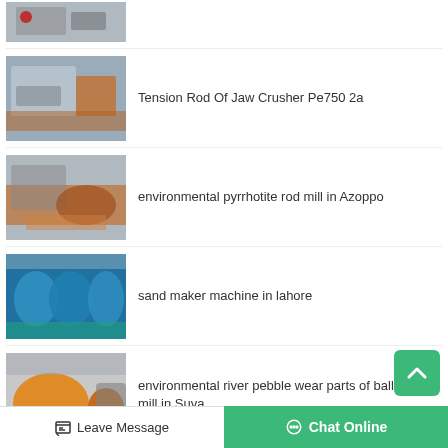[Figure (photo): Thumbnail photo of jaw crusher machine, partial view at top]
Tension Rod Of Jaw Crusher Pe750 2a
[Figure (photo): Thumbnail photo of industrial rod mill machinery with orange frames]
environmental pyrrhotite rod mill in Azoppo
[Figure (photo): Thumbnail photo of blue sand maker machines in a factory]
sand maker machine in lahore
[Figure (photo): Thumbnail photo of orange/yellow ball mill machine]
environmental river pebble wear parts of ball mill in Suva
Leave Message
Chat Online